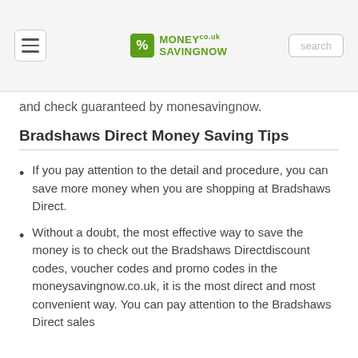MoneySavingNow logo with hamburger menu and search box
and check guaranteed by monesavingnow.
Bradshaws Direct Money Saving Tips
If you pay attention to the detail and procedure, you can save more money when you are shopping at Bradshaws Direct.
Without a doubt, the most effective way to save the money is to check out the Bradshaws Directdiscount codes, voucher codes and promo codes in the moneysavingnow.co.uk, it is the most direct and most convenient way. You can pay attention to the Bradshaws Direct sales